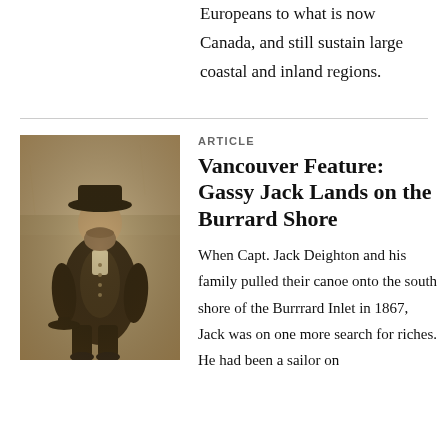Europeans to what is now Canada, and still sustain large coastal and inland regions.
[Figure (photo): Sepia-toned historical photograph of a heavyset man wearing a wide-brimmed hat and a dark coat, holding a hat at his side, standing in a formal portrait pose.]
ARTICLE
Vancouver Feature: Gassy Jack Lands on the Burrard Shore
When Capt. Jack Deighton and his family pulled their canoe onto the south shore of the Burrrard Inlet in 1867, Jack was on one more search for riches. He had been a sailor on